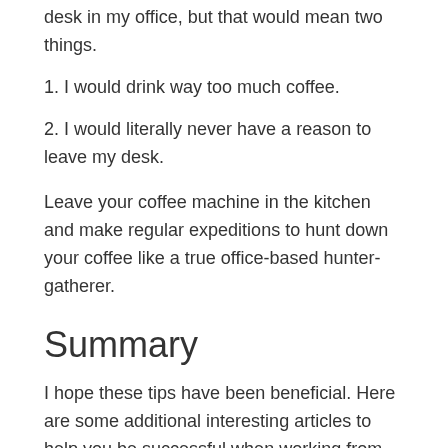desk in my office, but that would mean two things.
1. I would drink way too much coffee.
2. I would literally never have a reason to leave my desk.
Leave your coffee machine in the kitchen and make regular expeditions to hunt down your coffee like a true office-based hunter-gatherer.
Summary
I hope these tips have been beneficial. Here are some additional interesting articles to help you be successful when working from home.